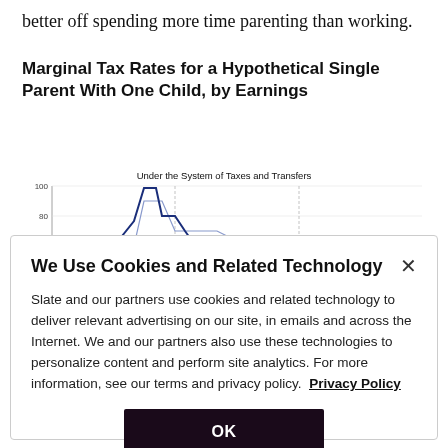better off spending more time parenting than working.
Marginal Tax Rates for a Hypothetical Single Parent With One Child, by Earnings
[Figure (continuous-plot): Line chart showing marginal tax rates under the system of taxes and transfers for a hypothetical single parent with one child, by earnings. X-axis ranges from 0 to 450, Y-axis from 20 to 100. Annotation: 'Medicaid: Income Limit for Parent in 2014'. Two lines shown — a bold dark blue line and a lighter blue line. Chart title: 'Under the System of Taxes and Transfers'.]
We Use Cookies and Related Technology

Slate and our partners use cookies and related technology to deliver relevant advertising on our site, in emails and across the Internet. We and our partners also use these technologies to personalize content and perform site analytics. For more information, see our terms and privacy policy. Privacy Policy

OK